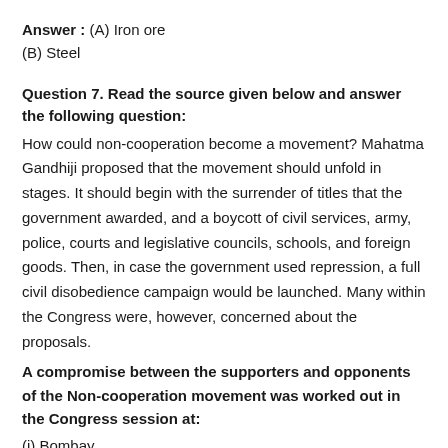Answer : (A) Iron ore
(B) Steel
Question 7. Read the source given below and answer the following question:
How could non-cooperation become a movement? Mahatma Gandhiji proposed that the movement should unfold in stages. It should begin with the surrender of titles that the government awarded, and a boycott of civil services, army, police, courts and legislative councils, schools, and foreign goods. Then, in case the government used repression, a full civil disobedience campaign would be launched. Many within the Congress were, however, concerned about the proposals.
A compromise between the supporters and opponents of the Non-cooperation movement was worked out in the Congress session at:
(i) Bombay
(ii) Calcutta